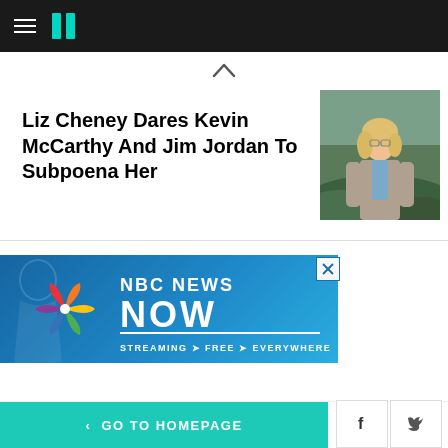HuffPost navigation header
Liz Cheney Dares Kevin McCarthy And Jim Jordan To Subpoena Her
[Figure (photo): Blonde woman in grey blazer and blue shirt outdoors in a green field]
[Figure (infographic): NBC News Now advertisement banner - STREAMING FREE EVERYWHERE]
< GO TO HOMEPAGE